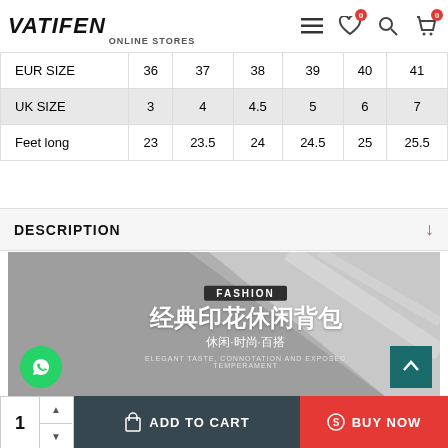VATIFEN ONLINE STORES
|  | 36 | 37 | 38 | 39 | 40 | 41 |
| --- | --- | --- | --- | --- | --- | --- |
| EUR SIZE | 36 | 37 | 38 | 39 | 40 | 41 |
| UK SIZE | 3 | 4 | 4.5 | 5 | 6 | 7 |
| Feet long | 23 | 23.5 | 24 | 24.5 | 25 | 25.5 |
DESCRIPTION
[Figure (photo): Fashion promotional image with Chinese text (经典印花休闲背包) meaning classic printed casual backpack, with text '休闲·时尚·百搭' and 'ELEGANT TASTE, CONNOTATION AND EXPOSED TEMPERAMENT']